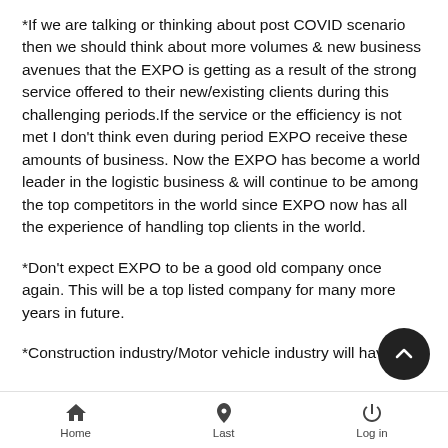*If we are talking or thinking about post COVID scenario then we should think about more volumes & new business avenues that the EXPO is getting as a result of the strong service offered to their new/existing clients during this challenging periods.If the service or the efficiency is not met I don't think even during period EXPO receive these amounts of business. Now the EXPO has become a world leader in the logistic business & will continue to be among the top competitors in the world since EXPO now has all the experience of handling top clients in the world.
*Don't expect EXPO to be a good old company once again. This will be a top listed company for many more years in future.
*Construction industry/Motor vehicle industry will have
Home  Last  Log in